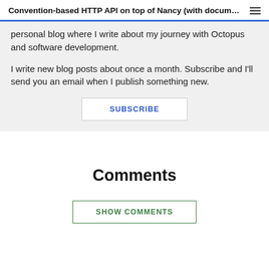Convention-based HTTP API on top of Nancy (with docum…
personal blog where I write about my journey with Octopus and software development.
I write new blog posts about once a month. Subscribe and I'll send you an email when I publish something new.
SUBSCRIBE
Comments
SHOW COMMENTS